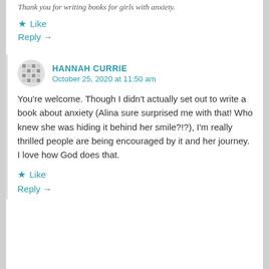Thank you for writing books for girls with anxiety.
★ Like
Reply →
HANNAH CURRIE
October 25, 2020 at 11:50 am
You're welcome. Though I didn't actually set out to write a book about anxiety (Alina sure surprised me with that! Who knew she was hiding it behind her smile?!?), I'm really thrilled people are being encouraged by it and her journey. I love how God does that.
★ Like
Reply →